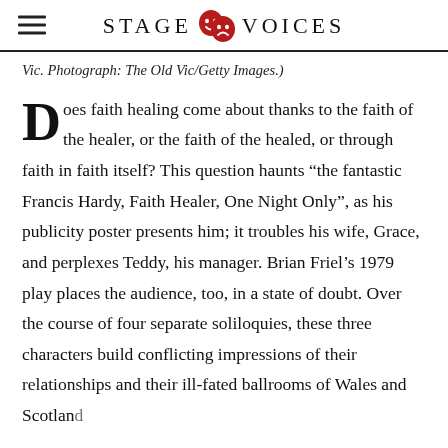STAGE VOICES
Vic. Photograph: The Old Vic/Getty Images.)
Does faith healing come about thanks to the faith of the healer, or the faith of the healed, or through faith in faith itself? This question haunts “the fantastic Francis Hardy, Faith Healer, One Night Only”, as his publicity poster presents him; it troubles his wife, Grace, and perplexes Teddy, his manager. Brian Friel’s 1979 play places the audience, too, in a state of doubt. Over the course of four separate soliloquies, these three characters build conflicting impressions of their relationships and their ill-fated ballrooms of Wales and Scotland